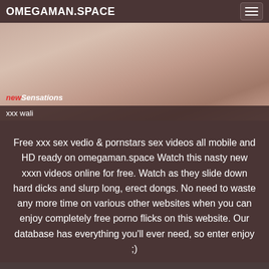OMEGAMAN.SPACE
[Figure (photo): Close-up photo with New Sensations watermark logo in red and white italic text at bottom left]
xxx wali
Free xxx sex vedio & pornstars sex videos all mobile and HD ready on omegaman.space Watch this nasty new xxxn videos online for free. Watch as they slide down hard dicks and slurp long, erect dongs. No need to waste any more time on various other websites when you can enjoy completely free porno flicks on this website. Our database has everything you'll ever need, so enter enjoy ;)